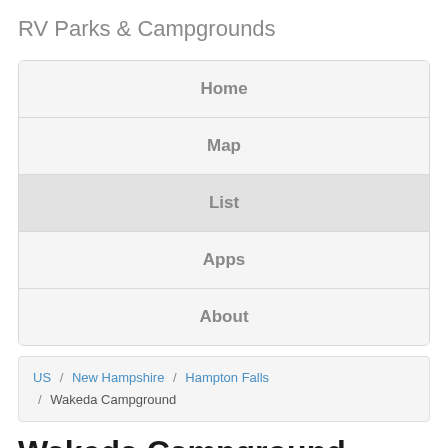RV Parks & Campgrounds
Home
Map
List
Apps
About
US / New Hampshire / Hampton Falls / Wakeda Campground
Wakeda Campground